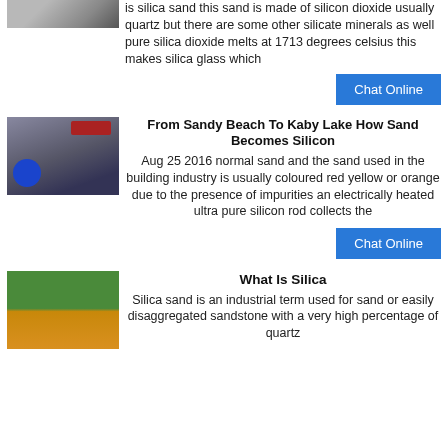[Figure (photo): Industrial machine or facility interior, partial view at top]
is silica sand this sand is made of silicon dioxide usually quartz but there are some other silicate minerals as well pure silica dioxide melts at 1713 degrees celsius this makes silica glass which
Chat Online
[Figure (photo): Gray industrial machine with blue motor/pump attached]
From Sandy Beach To Kaby Lake How Sand Becomes Silicon
Aug 25 2016  normal sand and the sand used in the building industry is usually coloured red yellow or orange due to the presence of impurities an electrically heated ultra pure silicon rod collects the
Chat Online
[Figure (photo): Outdoor yellow industrial equipment or machinery surrounded by trees]
What Is Silica
Silica sand is an industrial term used for sand or easily disaggregated sandstone with a very high percentage of quartz